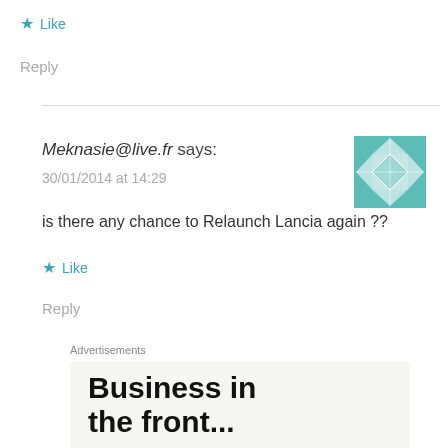★ Like
Reply
Meknasie@live.fr says:
30/01/2014 at 14:29
is there any chance to Relaunch Lancia again ??
★ Like
Reply
Advertisements
[Figure (other): Advertisement banner with bold text reading 'Business in the front...' on a light gray background]